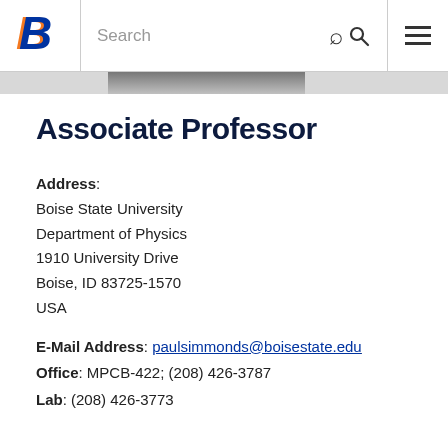Boise State University — Search / Navigation
Associate Professor
Address:
Boise State University
Department of Physics
1910 University Drive
Boise, ID 83725-1570
USA
E-Mail Address: paulsimmonds@boisestate.edu
Office: MPCB-422; (208) 426-3787
Lab: (208) 426-3773